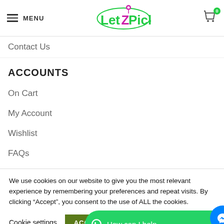MENU | LetZPick | 0
Contact Us
ACCOUNTS
On Cart
My Account
Wishlist
FAQs
We use cookies on our website to give you the most relevant experience by remembering your preferences and repeat visits. By clicking “Accept”, you consent to the use of ALL the cookies.
Cookie settings | ACCEPT | How can I help